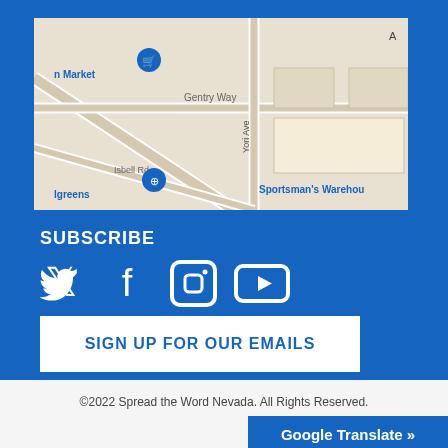[Figure (map): Google Maps screenshot showing Gentry Way, Isbell Rd, Yori Ave, with markers for a market, Walgreens, and Sportsman's Warehouse]
SUBSCRIBE
[Figure (infographic): Social media icons: Twitter, Facebook, Instagram, YouTube]
SIGN UP FOR OUR EMAILS
©2022 Spread the Word Nevada. All Rights Reserved.
Google Translate »